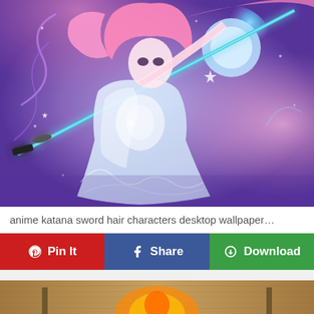[Figure (illustration): Anime illustration of a female character with pink hair wearing a white dress, wielding a katana sword with purple and blue magical energy effects and a glowing moon in the background.]
anime katana sword hair characters desktop wallpaper...
[Figure (illustration): Partial view of a second anime wallpaper showing a character with orange/yellow elements on a brown parchment-like background.]